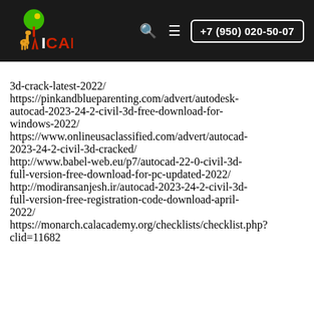[Figure (logo): ICAN logo with giraffe and green tree on dark background, with navigation icons and phone number +7 (950) 020-50-07]
3d-crack-latest-2022/
https://pinkandblueparenting.com/advert/autodesk-autocad-2023-24-2-civil-3d-free-download-for-windows-2022/
https://www.onlineusaclassified.com/advert/autocad-2023-24-2-civil-3d-cracked/
http://www.babel-web.eu/p7/autocad-22-0-civil-3d-full-version-free-download-for-pc-updated-2022/
http://modiransanjesh.ir/autocad-2023-24-2-civil-3d-full-version-free-registration-code-download-april-2022/
https://monarch.calacademy.org/checklists/checklist.php?clid=11682